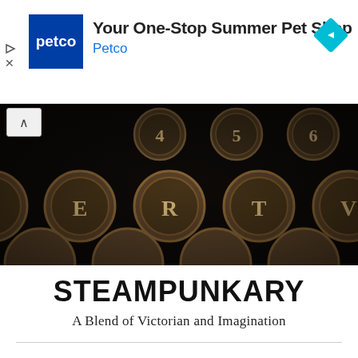[Figure (screenshot): Petco advertisement banner: blue Petco logo square on left, text 'Your One-Stop Summer Pet Shop' and 'Petco' in blue, diamond navigation icon on right, play and X icons on left margin.]
[Figure (photo): Close-up photograph of vintage typewriter keys on dark background, showing keys V, E, R, T, V and number keys 4, 5, 6 in bronze/copper color.]
STEAMPUNKARY
A Blend of Victorian and Imagination